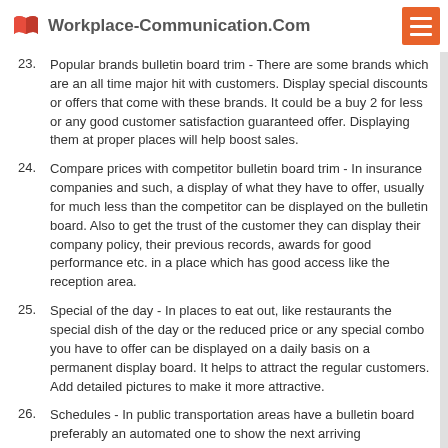Workplace-Communication.Com
23. Popular brands bulletin board trim - There are some brands which are an all time major hit with customers. Display special discounts or offers that come with these brands. It could be a buy 2 for less or any good customer satisfaction guaranteed offer. Displaying them at proper places will help boost sales.
24. Compare prices with competitor bulletin board trim - In insurance companies and such, a display of what they have to offer, usually for much less than the competitor can be displayed on the bulletin board. Also to get the trust of the customer they can display their company policy, their previous records, awards for good performance etc. in a place which has good access like the reception area.
25. Special of the day - In places to eat out, like restaurants the special dish of the day or the reduced price or any special combo you have to offer can be displayed on a daily basis on a permanent display board. It helps to attract the regular customers. Add detailed pictures to make it more attractive.
26. Schedules - In public transportation areas have a bulletin board preferably an automated one to show the next arriving train/bus/flight. Showing the schedule in advance can prepare the public better. Also showing safety measures and do's and don'ts while aboard the transport will be a good reminder for the public.